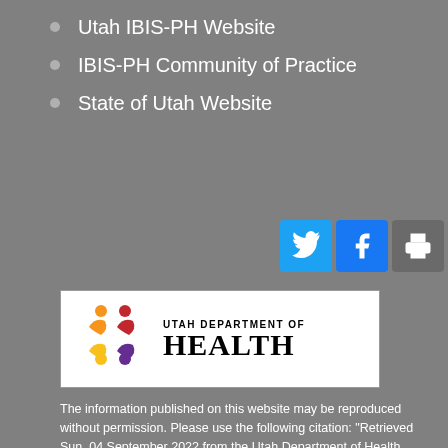Utah IBIS-PH Website
IBIS-PH Community of Practice
State of Utah Website
[Figure (logo): Utah Department of Health logo with colorful figures icon and text]
The information published on this website may be reproduced without permission. Please use the following citation: "Retrieved Sun, 04 September 2022 from the Utah Department of Health, Utah Environmental Public Health Tracking Network Web Site: http://epht.health.utah.gov/"